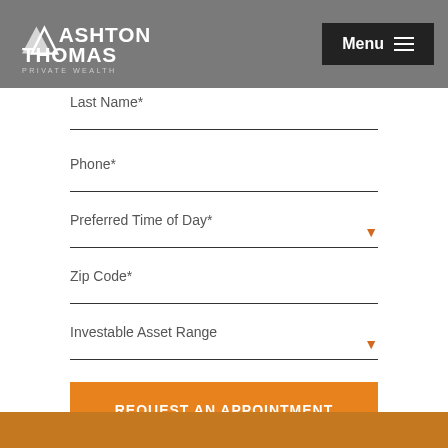Ashton Thomas Private Wealth — Menu navigation
Last Name*
Phone*
Preferred Time of Day*
Zip Code*
Investable Asset Range
REQUEST AN APPOINTMENT